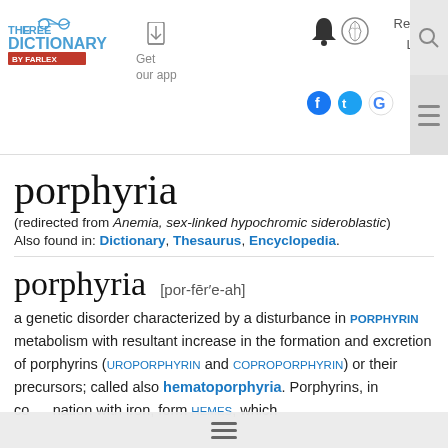[Figure (logo): The Free Dictionary by Farlex logo with glasses icon]
porphyria
(redirected from Anemia, sex-linked hypochromic sideroblastic)
Also found in: Dictionary, Thesaurus, Encyclopedia.
porphyria [por-fēr′e-ah]
a genetic disorder characterized by a disturbance in PORPHYRIN metabolism with resultant increase in the formation and excretion of porphyrins (UROPORPHYRIN and COPROPORPHYRIN) or their precursors; called also hematoporphyria. Porphyrins, in combination with iron, form HEMES, which